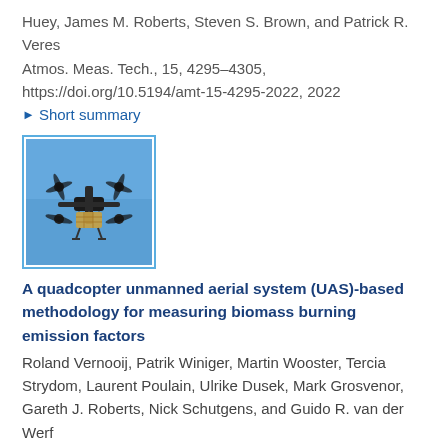Huey, James M. Roberts, Steven S. Brown, and Patrick R. Veres
Atmos. Meas. Tech., 15, 4295–4305, https://doi.org/10.5194/amt-15-4295-2022, 2022
▶ Short summary
[Figure (photo): A quadcopter drone (UAS) in flight against a blue sky background, with equipment payload attached underneath.]
A quadcopter unmanned aerial system (UAS)-based methodology for measuring biomass burning emission factors
Roland Vernooij, Patrik Winiger, Martin Wooster, Tercia Strydom, Laurent Poulain, Ulrike Dusek, Mark Grosvenor, Gareth J. Roberts, Nick Schutgens, and Guido R. van der Werf
Atmos. Meas. Tech., 15, 4271–4294,